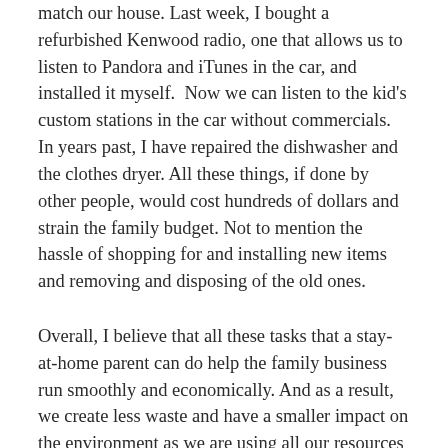match our house. Last week, I bought a refurbished Kenwood radio, one that allows us to listen to Pandora and iTunes in the car, and installed it myself. Now we can listen to the kid's custom stations in the car without commercials. In years past, I have repaired the dishwasher and the clothes dryer. All these things, if done by other people, would cost hundreds of dollars and strain the family budget. Not to mention the hassle of shopping for and installing new items and removing and disposing of the old ones.
Overall, I believe that all these tasks that a stay-at-home parent can do help the family business run smoothly and economically. And as a result, we create less waste and have a smaller impact on the environment as we are using all our resources to the fullest extent possible.
And, perhaps, most importantly (at least for my sense of self-worth), I feel that I am contributing to the Family